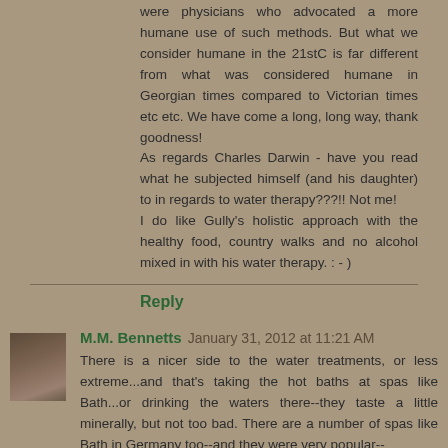were physicians who advocated a more humane use of such methods. But what we consider humane in the 21stC is far different from what was considered humane in Georgian times compared to Victorian times etc etc. We have come a long, long way, thank goodness!
As regards Charles Darwin - have you read what he subjected himself (and his daughter) to in regards to water therapy???!! Not me!
I do like Gully's holistic approach with the healthy food, country walks and no alcohol mixed in with his water therapy. : - )
Reply
M.M. Bennetts  January 31, 2012 at 11:21 AM
There is a nicer side to the water treatments, or less extreme...and that's taking the hot baths at spas like Bath...or drinking the waters there--they taste a little minerally, but not too bad. There are a number of spas like Bath in Germany too--and they were very popular--